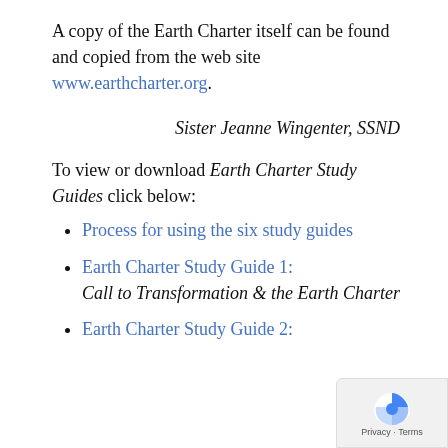A copy of the Earth Charter itself can be found and copied from the web site www.earthcharter.org.
Sister Jeanne Wingenter, SSND
To view or download Earth Charter Study Guides click below:
Process for using the six study guides
Earth Charter Study Guide 1: Call to Transformation & the Earth Charter
Earth Charter Study Guide 2: